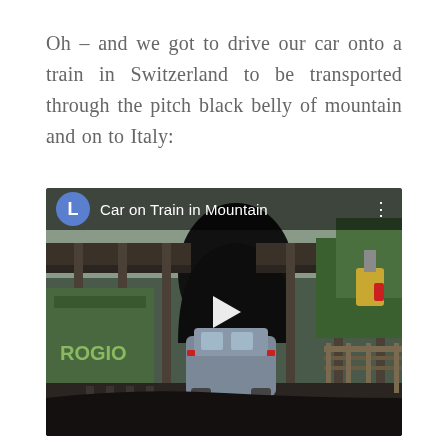Oh – and we got to drive our car onto a train in Switzerland to be transported through the pitch black belly of mountain and on to Italy:
[Figure (screenshot): Embedded video thumbnail showing a car loaded onto an open train car approaching a dark mountain tunnel, with trees and overcast sky visible. Video header shows a blue circular avatar with letter 'L' and title 'Car on Train in Mountain'. A play button triangle is overlaid in the center.]